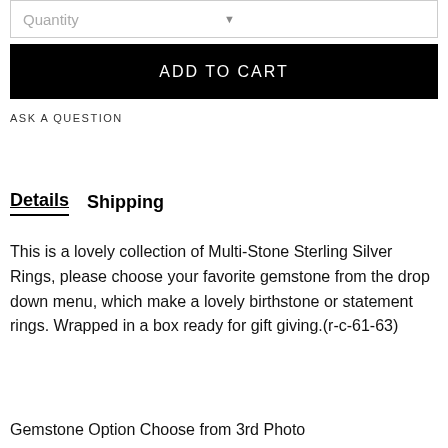Quantity
ADD TO CART
ASK A QUESTION
Details   Shipping
This is a lovely collection of Multi-Stone Sterling Silver Rings, please choose your favorite gemstone from the drop down menu, which make a lovely birthstone or statement rings. Wrapped in a box ready for gift giving.(r-c-61-63)
Gemstone Option Choose from 3rd Photo